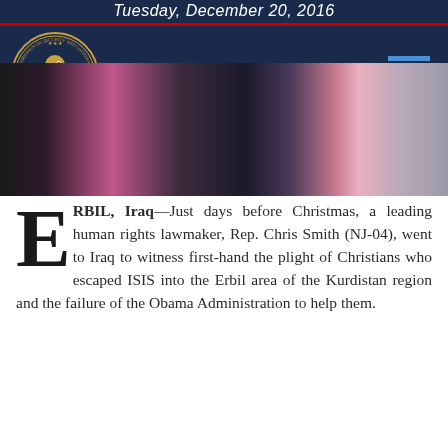Tuesday, December 20, 2016
[Figure (photo): Photograph showing people, appears to be from Erbil, Iraq visit. Dark toned image with figures visible.]
ERBIL, Iraq—Just days before Christmas, a leading human rights lawmaker, Rep. Chris Smith (NJ-04), went to Iraq to witness first-hand the plight of Christians who escaped ISIS into the Erbil area of the Kurdistan region and the failure of the Obama Administration to help them.